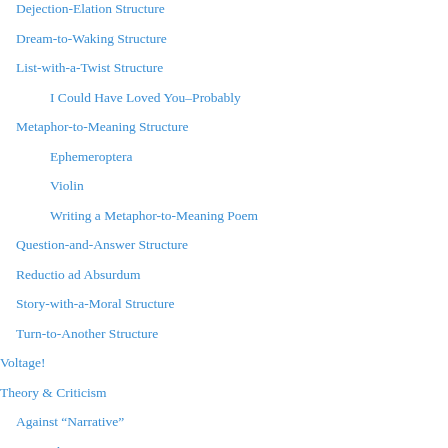Dejection-Elation Structure
Dream-to-Waking Structure
List-with-a-Twist Structure
I Could Have Loved You–Probably
Metaphor-to-Meaning Structure
Ephemeroptera
Violin
Writing a Metaphor-to-Meaning Poem
Question-and-Answer Structure
Reductio ad Absurdum
Story-with-a-Moral Structure
Turn-to-Another Structure
Voltage!
Theory & Criticism
Against “Narrative”
Doing the Twist
Fitting Surprise
Fitting Surprise and the Critique of Recent Poetics
Further Reading
Responding to Poetry Magazine